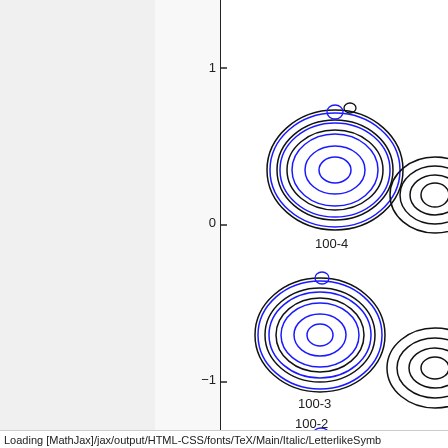[Figure (continuous-plot): Contour plot showing co-scan angle [°] on the y-axis. Multiple sets of concentric oval/circular contours are shown in blue and black at different positions. Labels visible: 100-4 (near top right), 100-3 (middle right area), 100-2 (lower middle area). Y-axis tick marks shown at -1, 0, 1. A vertical black axis line divides the plot.]
Loading [MathJax]/jax/output/HTML-CSS/fonts/TeX/Main/Italic/LetterlikeSymb